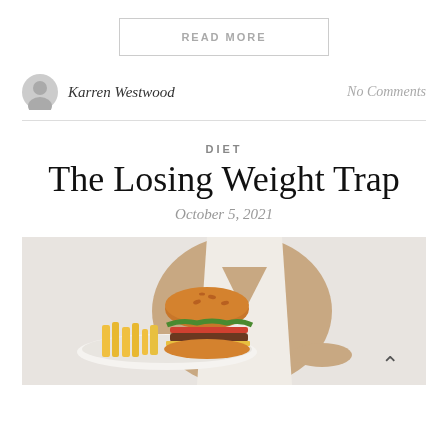READ MORE
Karren Westwood
No Comments
DIET
The Losing Weight Trap
October 5, 2021
[Figure (photo): A thin woman in a white lace top holding a plate with a large burger and french fries]